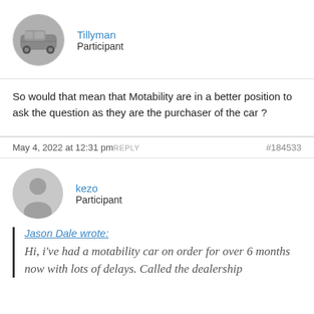[Figure (photo): Circular avatar image showing a car in black and white]
Tillyman
Participant
So would that mean that Motability are in a better position to ask the question as they are the purchaser of the car ?
May 4, 2022 at 12:31 pm REPLY  #184533
[Figure (illustration): Default circular grey avatar silhouette for user kezo]
kezo
Participant
Jason Dale wrote:
Hi, i've had a motability car on order for over 6 months now with lots of delays. Called the dealership